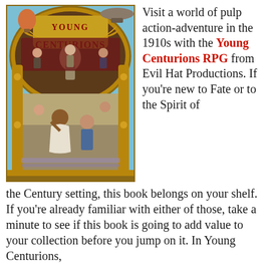[Figure (illustration): Book cover of 'Young Centurions RPG' showing an Art Nouveau style illustration with multiple adventurous characters in a 1910s steampunk setting, featuring airships, ornate golden arch framing, and diverse group of young heroes.]
Visit a world of pulp action-adventure in the 1910s with the Young Centurions RPG from Evil Hat Productions. If you're new to Fate or to the Spirit of the Century setting, this book belongs on your shelf. If you're already familiar with either of those, take a minute to see if this book is going to add value to your collection before you jump on it. In Young Centurions,